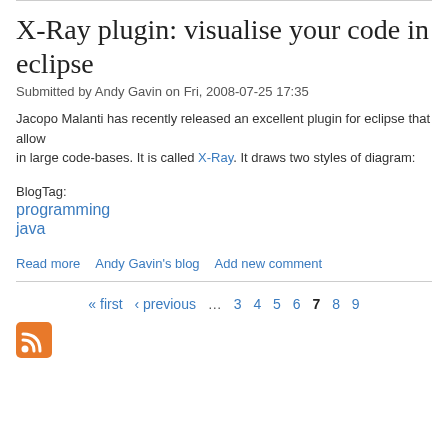X-Ray plugin: visualise your code in eclipse
Submitted by Andy Gavin on Fri, 2008-07-25 17:35
Jacopo Malanti has recently released an excellent plugin for eclipse that allows in large code-bases. It is called X-Ray. It draws two styles of diagram:
BlogTag:
programming
java
Read more   Andy Gavin's blog   Add new comment
« first ‹ previous … 3 4 5 6 7 8 9
[Figure (illustration): RSS feed icon - orange square with white radio wave symbol]